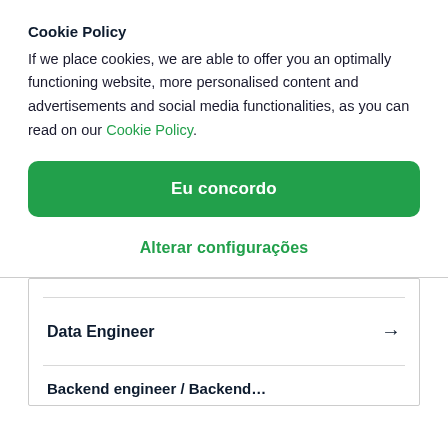Cookie Policy
If we place cookies, we are able to offer you an optimally functioning website, more personalised content and advertisements and social media functionalities, as you can read on our Cookie Policy.
Eu concordo
Alterar configurações
Data Engineer →
Backend engineer / Backend...